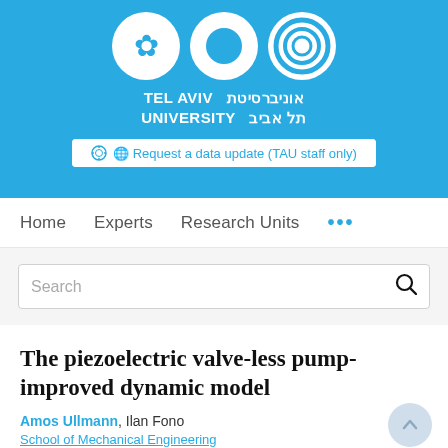[Figure (logo): Tel Aviv University logo with three circles and Hebrew/English university name on blue background]
Request a data update (TAU staff only)
Home   Experts   Research Units   ...
Search
The piezoelectric valve-less pump-improved dynamic model
Amos Ullmann, Ilan Fono
School of Mechanical Engineering